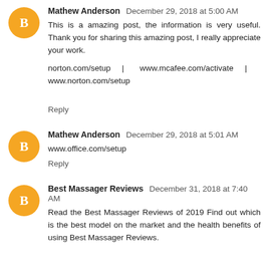Mathew Anderson December 29, 2018 at 5:00 AM
This is a amazing post, the information is very useful. Thank you for sharing this amazing post, I really appreciate your work.
norton.com/setup | www.mcafee.com/activate | www.norton.com/setup
Reply
Mathew Anderson December 29, 2018 at 5:01 AM
www.office.com/setup
Reply
Best Massager Reviews December 31, 2018 at 7:40 AM
Read the Best Massager Reviews of 2019 Find out which is the best model on the market and the health benefits of using Best Massager Reviews.